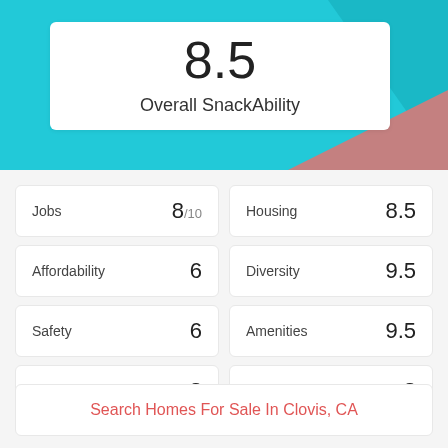8.5
Overall SnackAbility
| Category | Score |
| --- | --- |
| Jobs | 8/10 |
| Housing | 8.5 |
| Affordability | 6 |
| Diversity | 9.5 |
| Safety | 6 |
| Amenities | 9.5 |
| Education | 8 |
| Commute | 8 |
Search Homes For Sale In Clovis, CA